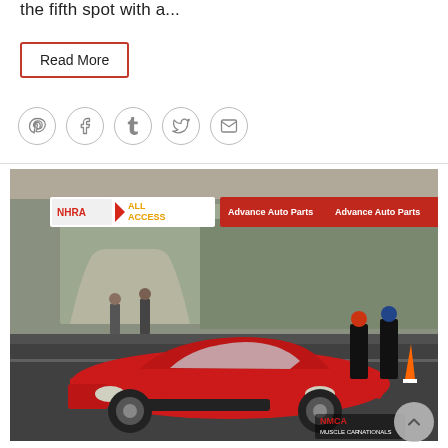the fifth spot with a...
Read More
[Figure (infographic): Social sharing icons: Pinterest, Facebook, Tumblr, Twitter, Email — each in a circular outline border]
[Figure (photo): A red Chevrolet Camaro muscle car at a drag racing event. NHRA All Access banner visible in background along with Advance Auto Parts signage. NMCA Muscle Car Nationals logo in lower right corner. Race officials and spectators visible in background.]